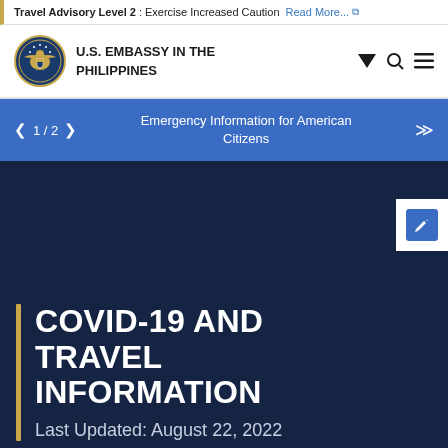Travel Advisory Level 2: Exercise Increased Caution Read More...
[Figure (logo): U.S. Embassy seal/logo and site header with embassy name]
U.S. EMBASSY IN THE PHILIPPINES
1 / 2 Emergency Information for American Citizens
COVID-19 AND TRAVEL INFORMATION
Last Updated: August 22, 2022